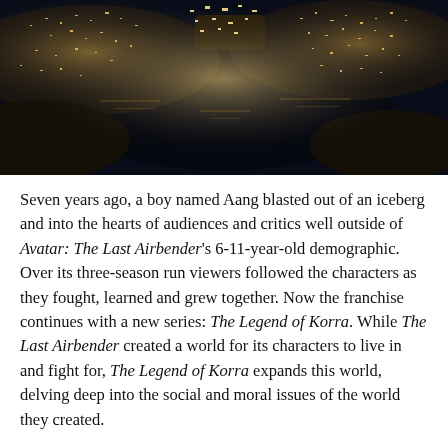[Figure (photo): Aerial night photograph of a coastal city with glittering lights reflected in dark water, viewed from above looking down at a harbor or bay surrounded by illuminated urban areas.]
Seven years ago, a boy named Aang blasted out of an iceberg and into the hearts of audiences and critics well outside of Avatar: The Last Airbender's 6-11-year-old demographic. Over its three-season run viewers followed the characters as they fought, learned and grew together. Now the franchise continues with a new series: The Legend of Korra. While The Last Airbender created a world for its characters to live in and fight for, The Legend of Korra expands this world, delving deep into the social and moral issues of the world they created.
Set more than 70 years after the defeat of the Fire